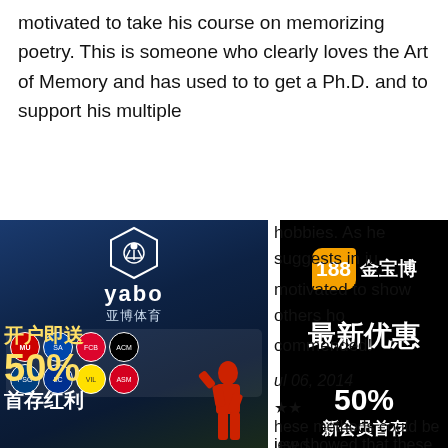motivated to take his course on memorizing poetry. This is someone who clearly loves the Art of Memory and has used to to get a Ph.D. and to support his multiple hobbies. As he suggests in ju motivated to show others how commended!
[Figure (advertisement): Yabo sports betting advertisement in Chinese with soccer team logos, 50% bonus promotion, and athlete photo]
[Figure (advertisement): 188 Jin Bao Bo Chinese gambling advertisement with orange logo, 最新优惠 (latest promotions), 50% new member bonus]
ul 06, 2014
★★
hese methods could be used iew showed that these metho ildren. Alicia the girl being int